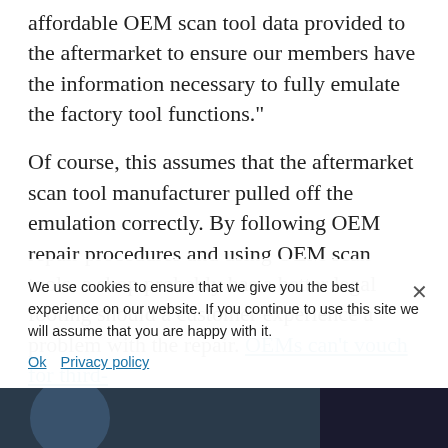affordable OEM scan tool data provided to the aftermarket to ensure our members have the information necessary to fully emulate the factory tool functions."
Of course, this assumes that the aftermarket scan tool manufacturer pulled off the emulation correctly. By following OEM repair procedures and using OEM scan tools, a shop probably has a better legal footing should a customer experience a problem with the repair. OEMs can't vouch for third-party scan tool manufacturers in the same way something RTI and Rotunda acknowledged.
We use cookies to ensure that we give you the best experience on our website. If you continue to use this site we will assume that you are happy with it.
Ok   Privacy policy
[Figure (photo): Bottom strip showing a partial photo, appears to be a car or helmet silhouette in dark blue/teal tones]